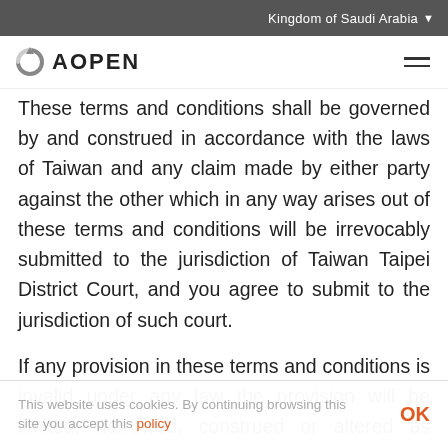Kingdom of Saudi Arabia
[Figure (logo): AOPEN logo with circular arrow icon]
These terms and conditions shall be governed by and construed in accordance with the laws of Taiwan and any claim made by either party against the other which in any way arises out of these terms and conditions will be irrevocably submitted to the jurisdiction of Taiwan Taipei District Court, and you agree to submit to the jurisdiction of such court.
If any provision in these terms and conditions is invalid under any law the provision will be limited, narrowed, construed or altered as necessary to render it valid but only to the extent necessary to
This website uses cookies. By continuing browsing this site you accept this policy  OK